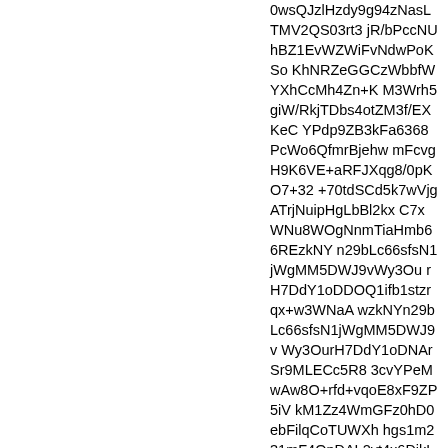0wsQJzlHzdy9g94zNasLTMV2QS03rt3jR/bPccNUhBZ1EvWZWiFvNdwPoKSoKhNRZeGGCzWbbfWYXhCcMh4Zn+KM3Wrh5giW/RkjTDbs4otZM3f/EXKeCYPdp9ZB3kFa6368PcWo6QfmrBjehwmFcvgH9K6VE+aRFJXqg8/0pKO7+32+70tdSCd5k7wVjgATrjNuipHgLbBl2kxC7xWNu8WOgNnmTiaHmb66REzkNYn29bLc66sfsN1jWgMM5DWJ9vWy3OurH7DdY1oDDOQ1ifb1stzrqx+w3WNaAwzkNYn29bLc66sfsN1jWgMM5DWJ9vWy3OurH7DdY1oDNArSr9MLECc5R83cvYPeMwAw8O+rfd+vqoE8xF9ZP5iVkM1Zz4WmGFz0hD0ebFilqCoTUWXhhgs1m231mF4QnDAL2yt4x6DikL5fUOnW2Wl27OKLWTN3/xFyngmD3afWQd5BWut+vD3FqOkH5qwY3ocJhXL4B/SulRPmkRSV6oPP9KSju/t9vu9LXUgneZO8FY4AE64zboqR4C2wZdpMQu8VjbvFjoDZ5k4mh5m+ukRM5DWJ9vWy3OurH7DdY1oDDOQ1ifb1stzrqx+w3WNaAwzkNYn29bLc66sfsN1jWgMM5DWJ9vWy3OurH7DdY1oDDOQ1ifb1stzrqx+w3WNaAzQK0q/TCxAnOUfN3L2D3jMgwk+/AOqzGoHfgeTZjoFrk9Bfj0ysve1tIekZHnpb6+gqE1Fl4YYLNZtt9ZheEJwNqMVJTRXEZ/R8YOF/ViC1tuzii1kzd/8Rcp4Jg92n1kHeOVrrfrw9xaipB+asG